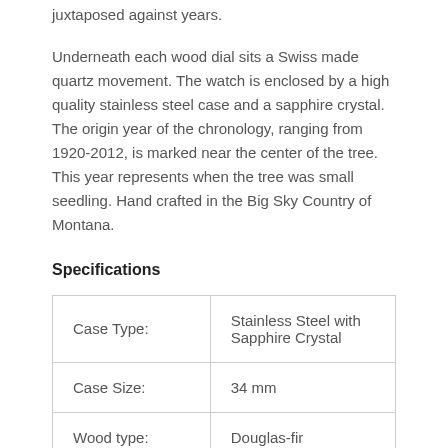juxtaposed against years.
Underneath each wood dial sits a Swiss made quartz movement. The watch is enclosed by a high quality stainless steel case and a sapphire crystal. The origin year of the chronology, ranging from 1920-2012, is marked near the center of the tree. This year represents when the tree was small seedling. Hand crafted in the Big Sky Country of Montana.
Specifications
| Case Type: | Stainless Steel with Sapphire Crystal |
| Case Size: | 34 mm |
| Wood type: | Douglas-fir |
| Movement: | Harley Ronda (Swiss- |